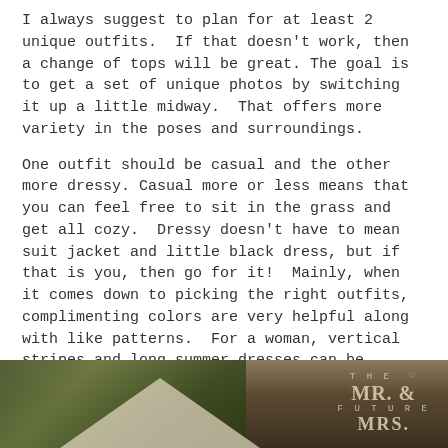I always suggest to plan for at least 2 unique outfits. If that doesn't work, then a change of tops will be great. The goal is to get a set of unique photos by switching it up a little midway. That offers more variety in the poses and surroundings.
One outfit should be casual and the other more dressy. Casual more or less means that you can feel free to sit in the grass and get all cozy. Dressy doesn't have to mean suit jacket and little black dress, but if that is you, then go for it! Mainly, when it comes down to picking the right outfits, complimenting colors are very helpful along with like patterns. For a woman, vertical stripes and long summer dresses can be slimming. Guys look great in most everything except wrinkly shirts stuffed in the drawer months ago. Avoiding bright whites is a plus unless it is a summer dress or the theme calls for it.
[Figure (photo): Outdoor photo with trees and foliage in background, a white tent or canopy visible, with vintage-style text overlay reading 'THE FUTURE MR. & MRS.' with a heart symbol]